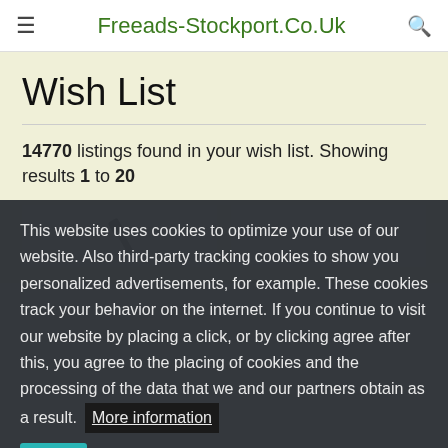Freeads-Stockport.Co.Uk
Wish List
14770 listings found in your wish list. Showing results 1 to 20
[Figure (other): Two listing card placeholders, one with a hammer/tools icon]
This website uses cookies to optimize your use of our website. Also third-party tracking cookies to show you personalized advertisements, for example. These cookies track your behavior on the internet. If you continue to visit our website by placing a click, or by clicking agree after this, you agree to the placing of cookies and the processing of the data that we and our partners obtain as a result. More information OK